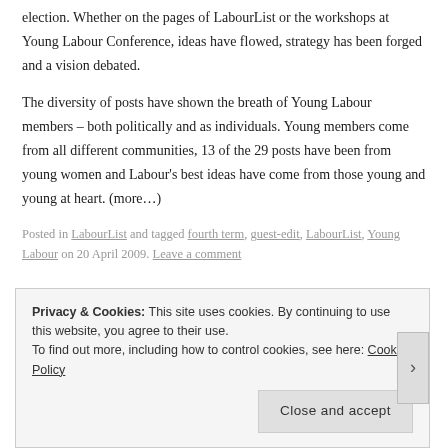election. Whether on the pages of LabourList or the workshops at Young Labour Conference, ideas have flowed, strategy has been forged and a vision debated.
The diversity of posts have shown the breath of Young Labour members – both politically and as individuals. Young members come from all different communities, 13 of the 29 posts have been from young women and Labour's best ideas have come from those young and young at heart. (more…)
Posted in LabourList and tagged fourth term, guest-edit, LabourList, Young Labour on 20 April 2009. Leave a comment
Privacy & Cookies: This site uses cookies. By continuing to use this website, you agree to their use.
To find out more, including how to control cookies, see here: Cookie Policy
Close and accept